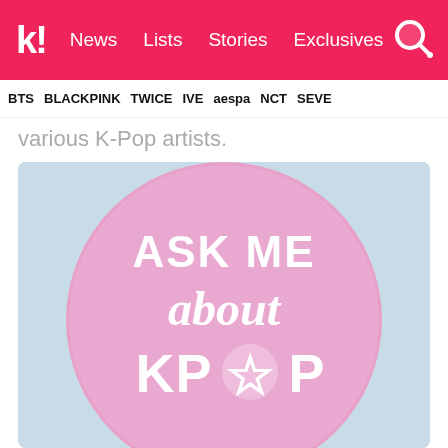k! News | Lists | Stories | Exclusives
BTS | BLACKPINK | TWICE | IVE | aespa | NCT | SEVE
various K-Pop artists.
[Figure (photo): A round pink button/badge with white text reading 'ASK ME about KPOP' with a star in the O of KPOP, on a light blue background.]